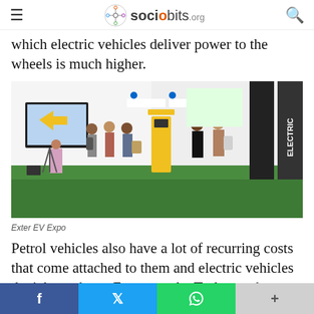sociobits.org
which electric vehicles deliver power to the wheels is much higher.
[Figure (photo): Exter EV Expo — an indoor electric vehicle expo with attendees looking at EV displays, a monitor showing an EV graphic, yellow battery-swap kiosks, and branded signage reading ELECTRIC on pillars, with green carpet flooring.]
Exter EV Expo
Petrol vehicles also have a lot of recurring costs that come attached to them and electric vehicles don't have these. For example, Tesla cars have
f  t  WhatsApp  +